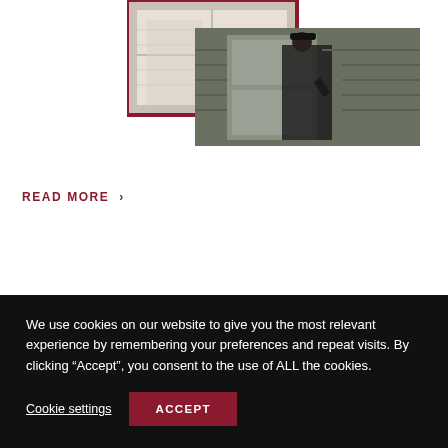[Figure (photo): Photo collage of workers installing windows — two overlapping photos showing window installation: one lighter photo of a person at a white-framed window with grid panes, and one darker photo of a worker in black shirt working on a window exterior. The first photo has a dark red/maroon border frame. Set against a white background.]
READ MORE >
We use cookies on our website to give you the most relevant experience by remembering your preferences and repeat visits. By clicking “Accept”, you consent to the use of ALL the cookies.
Cookie settings
ACCEPT